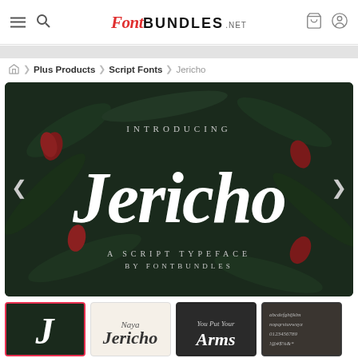Font BUNDLES .NET — navigation header with hamburger, search, logo, cart, and account icons
Plus Products > Script Fonts > Jericho
[Figure (illustration): Dark tropical floral background with large white script text reading 'Jericho' and serif text reading 'INTRODUCING' above and 'A SCRIPT TYPEFACE BY FONTBUNDLES' below. Previous/next carousel arrows on sides.]
[Figure (illustration): Four thumbnail previews of the Jericho font product: first with dark background and script J (selected with pink border), second with light background and script text, third with dark background and script text, fourth with dark background and character set.]